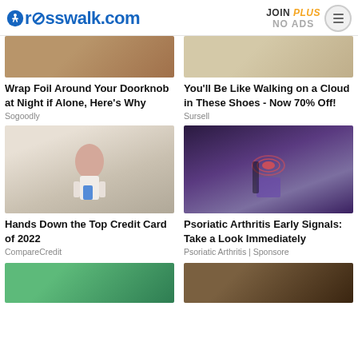crosswalk.com | JOIN PLUS NO ADS
[Figure (photo): Doorknob article thumbnail]
Wrap Foil Around Your Doorknob at Night if Alone, Here's Why
Sogoodly
[Figure (photo): Shoes article thumbnail]
You'll Be Like Walking on a Cloud in These Shoes - Now 70% Off!
Sursell
[Figure (photo): Woman pointing at credit card]
Hands Down the Top Credit Card of 2022
CompareCredit
[Figure (photo): Psoriatic Arthritis medical image]
Psoriatic Arthritis Early Signals: Take a Look Immediately
Psoriatic Arthritis | Sponsore
[Figure (photo): Bottom left article thumbnail]
[Figure (photo): Bottom right article thumbnail]